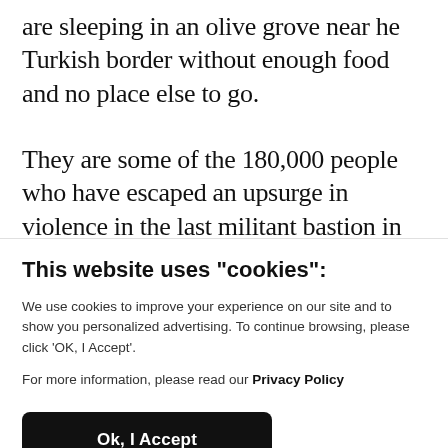are sleeping in an olive grove near he Turkish border without enough food and no place else to go.
They are some of the 180,000 people who have escaped an upsurge in violence in the last militant bastion in the last few weeks. It marks the most intense escalation
This website uses "cookies":
We use cookies to improve your experience on our site and to show you personalized advertising. To continue browsing, please click ‘OK, I Accept’.
For more information, please read our Privacy Policy
Ok, I Accept